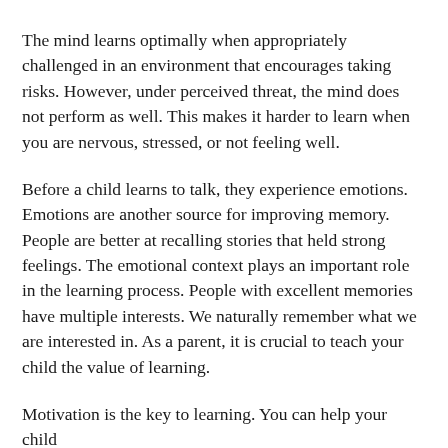The mind learns optimally when appropriately challenged in an environment that encourages taking risks. However, under perceived threat, the mind does not perform as well. This makes it harder to learn when you are nervous, stressed, or not feeling well.
Before a child learns to talk, they experience emotions. Emotions are another source for improving memory. People are better at recalling stories that held strong feelings. The emotional context plays an important role in the learning process. People with excellent memories have multiple interests. We naturally remember what we are interested in. As a parent, it is crucial to teach your child the value of learning.
Motivation is the key to learning. You can help your child